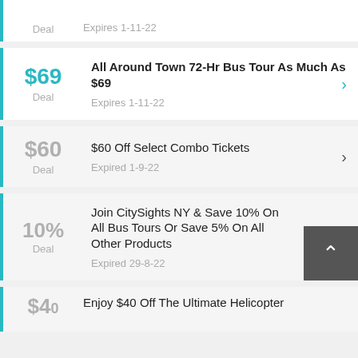Deal | Expires 1-11-22
$69 Deal | All Around Town 72-Hr Bus Tour As Much As $69 | Expires 1-11-22
$60 Deal | $60 Off Select Combo Tickets | Expired 1-9-22
10% Deal | Join CitySights NY & Save 10% On All Bus Tours Or Save 5% On All Other Products | Expired 29-8-22
$40 Deal | Enjoy $40 Off The Ultimate Helicopter